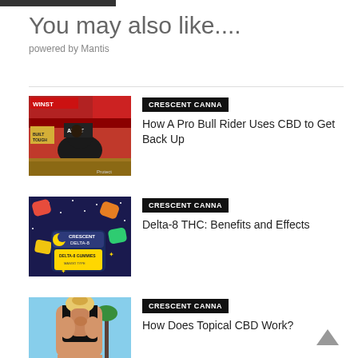You may also like....
powered by Mantis
[Figure (photo): Bull riding rodeo scene with WINSTF and ARIAT sponsor banners, rider on black bull]
CRESCENT CANNA
How A Pro Bull Rider Uses CBD to Get Back Up
[Figure (photo): Crescent Delta-8 gummies product on dark blue background with colorful gummy candies]
CRESCENT CANNA
Delta-8 THC: Benefits and Effects
[Figure (photo): Woman in black sports bra from behind with blonde hair up, palm trees in background]
CRESCENT CANNA
How Does Topical CBD Work?